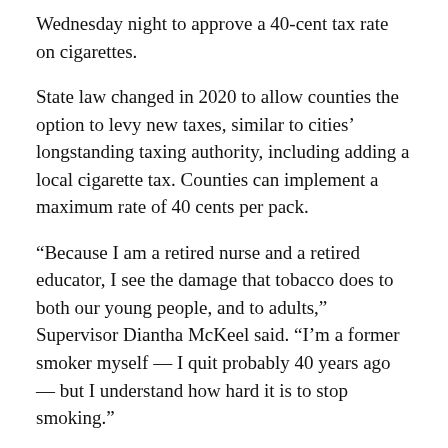Wednesday night to approve a 40-cent tax rate on cigarettes.
State law changed in 2020 to allow counties the option to levy new taxes, similar to cities’ longstanding taxing authority, including adding a local cigarette tax. Counties can implement a maximum rate of 40 cents per pack.
“Because I am a retired nurse and a retired educator, I see the damage that tobacco does to both our young people, and to adults,” Supervisor Diantha McKeel said. “I’m a former smoker myself — I quit probably 40 years ago — but I understand how hard it is to stop smoking.”
During the public hearing, Sid Patel, owner of Tobacco 4 Less, said the pandemic was a bad time to implement a cigarette tax, and that this will hurt small businesses.